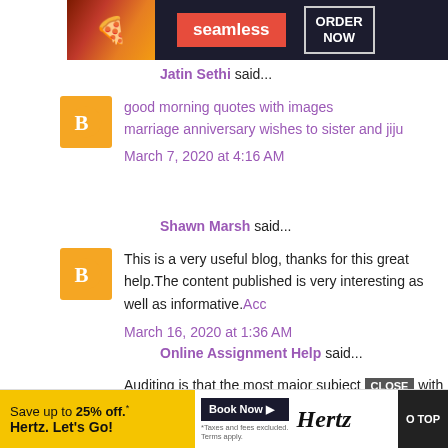[Figure (photo): Seamless food delivery advertisement banner with pizza image, red Seamless logo button, and ORDER NOW button on dark background]
Jatin Sethi said...
[Figure (logo): Blogger orange avatar icon]
good morning quotes with images
marriage anniversary wishes to sister and jiju
March 7, 2020 at 4:16 AM
Shawn Marsh said...
[Figure (logo): Blogger orange avatar icon]
This is a very useful blog, thanks for this great help.The content published is very interesting as well as informative.Acc
March 16, 2020 at 1:36 AM
Online Assignment Help said...
Auditing is that the most major subject...with the se...from the si...
[Figure (photo): Hertz car rental advertisement: Save up to 25% off. Hertz. Let's Go! Book Now button]
CLOSE
O TOP